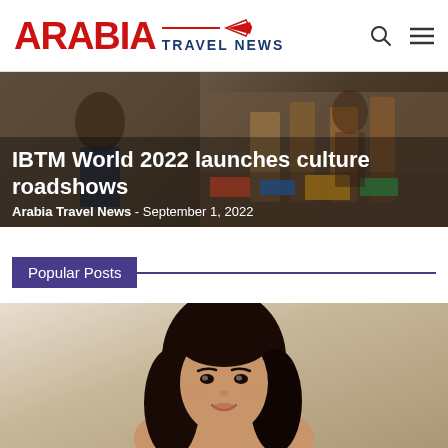ARABIA TRAVEL NEWS
IBTM World 2022 launches culture roadshows
Arabia Travel News - September 1, 2022
Popular Posts
[Figure (photo): Portrait photo of a smiling woman with long dark hair against a beige/cream background]